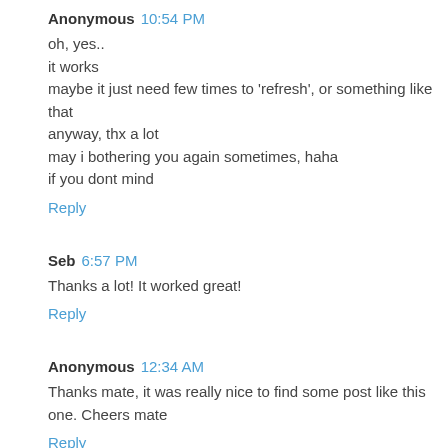Anonymous 10:54 PM
oh, yes..
it works
maybe it just need few times to 'refresh', or something like that
anyway, thx a lot
may i bothering you again sometimes, haha
if you dont mind
Reply
Seb 6:57 PM
Thanks a lot! It worked great!
Reply
Anonymous 12:34 AM
Thanks mate, it was really nice to find some post like this one. Cheers mate
Reply